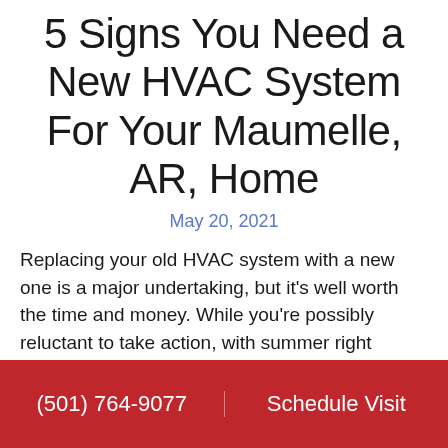5 Signs You Need a New HVAC System For Your Maumelle, AR, Home
May 20, 2021
Replacing your old HVAC system with a new one is a major undertaking, but it’s well worth the time and money. While you’re possibly reluctant to take action, with summer right around the corner, can you trust your HVAC system to help you escape the heat in Maumelle, AR? Below are a few
(501) 764-9077   Schedule Visit